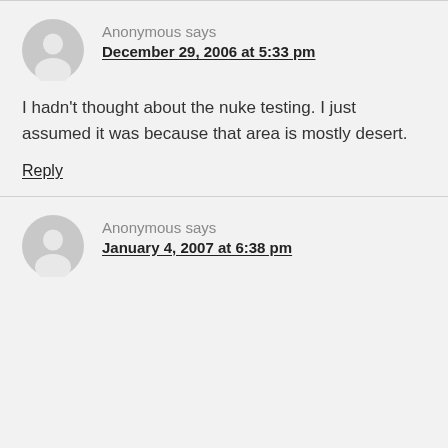[Figure (illustration): Grey anonymous user avatar icon (circle with person silhouette)]
Anonymous says
December 29, 2006 at 5:33 pm
I hadn't thought about the nuke testing. I just assumed it was because that area is mostly desert.
Reply
[Figure (illustration): Grey anonymous user avatar icon (circle with person silhouette)]
Anonymous says
January 4, 2007 at 6:38 pm